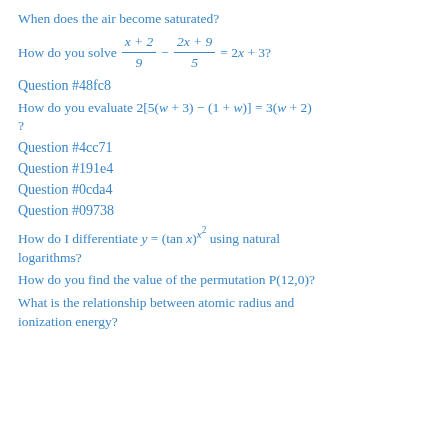When does the air become saturated?
How do you solve (x+2)/9 − (2x+9)/5 = 2x + 3?
Question #48fc8
How do you evaluate 2[5(w + 3) − (1 + w)] = 3(w + 2)?
Question #4cc71
Question #191e4
Question #0cda4
Question #09738
How do I differentiate y = (tan x)^(x^2) using natural logarithms?
How do you find the value of the permutation P(12,0)?
What is the relationship between atomic radius and ionization energy?